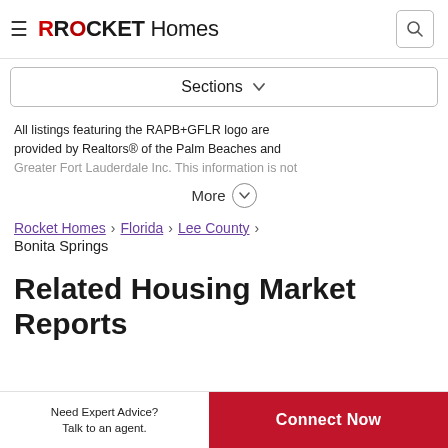ROCKET Homes
Sections
All listings featuring the RAPB+GFLR logo are provided by Realtors® of the Palm Beaches and Greater Fort Lauderdale Inc. This information is not More
Rocket Homes › Florida › Lee County › Bonita Springs
Related Housing Market Reports
Need Expert Advice? Talk to an agent. Connect Now